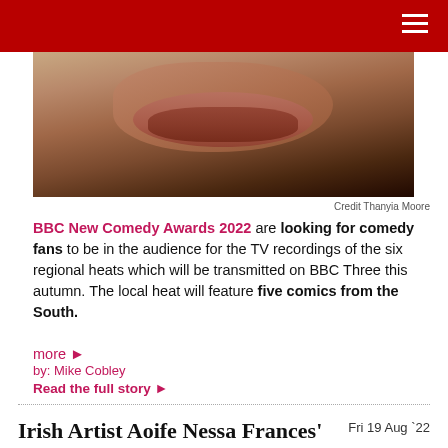[Figure (photo): Close-up photo of a person's lower face showing lips, chin and jaw, with sunglasses partially visible]
Credit Thanyia Moore
BBC New Comedy Awards 2022 are looking for comedy fans to be in the audience for the TV recordings of the six regional heats which will be transmitted on BBC Three this autumn. The local heat will feature five comics from the South.
more ▶
by: Mike Cobley
Read the full story ▶
Irish Artist Aoife Nessa Frances' Second Album Signposts
Fri 19 Aug `22